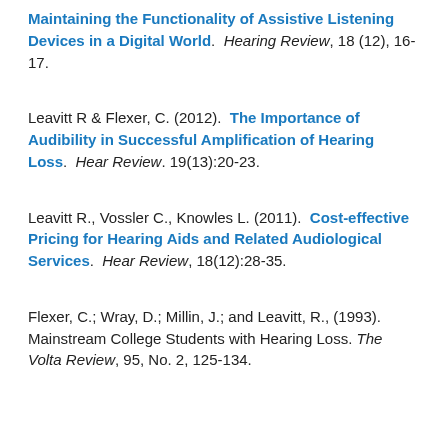Maintaining the Functionality of Assistive Listening Devices in a Digital World. Hearing Review, 18 (12), 16-17.
Leavitt R & Flexer, C. (2012). The Importance of Audibility in Successful Amplification of Hearing Loss. Hear Review. 19(13):20-23.
Leavitt R., Vossler C., Knowles L. (2011). Cost-effective Pricing for Hearing Aids and Related Audiological Services. Hear Review, 18(12):28-35.
Flexer, C.; Wray, D.; Millin, J.; and Leavitt, R., (1993). Mainstream College Students with Hearing Loss. The Volta Review, 95, No. 2, 125-134.